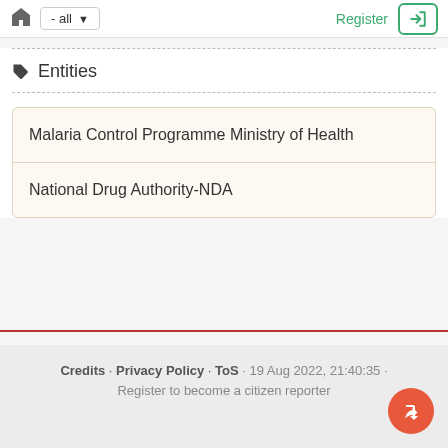- all  Register
Entities
Malaria Control Programme Ministry of Health
National Drug Authority-NDA
Credits · Privacy Policy · ToS · 19 Aug 2022, 21:40:35 · Register to become a citizen reporter